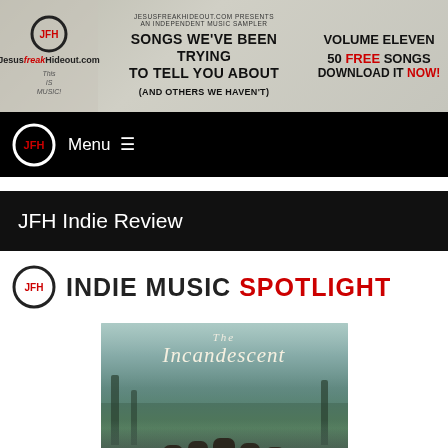[Figure (other): JesusFreakHideout.com banner advertisement: Volume Eleven indie music sampler - Songs We've Been Trying To Tell You About (And Others We Haven't) - 50 Free Songs Download It Now!]
Menu ≡
JFH Indie Review
[Figure (logo): JFH Indie Music Spotlight logo with circular JFH emblem]
[Figure (photo): Album artwork for The Incandescent - shows band members standing in a misty forest]